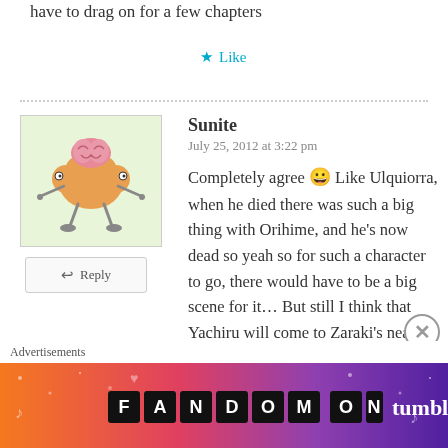have to drag on for a few chapters
★ Like
Sunite
July 25, 2012 at 3:22 pm
Completely agree 😀 Like Ulquiorra, when he died there was such a big thing with Orihime, and he's now dead so yeah so for such a character to go, there would have to be a big scene for it… But still I think that Yachiru will come to Zaraki's near death situation and also fight for Zaraki… not defeating the leader but scaring them off. As Zaraki drifts off, past
Advertisements
[Figure (infographic): Fandom on Tumblr advertisement banner with colorful gradient background (orange to purple) and bold white text reading 'FANDOM ON tumblr' with decorative icons]